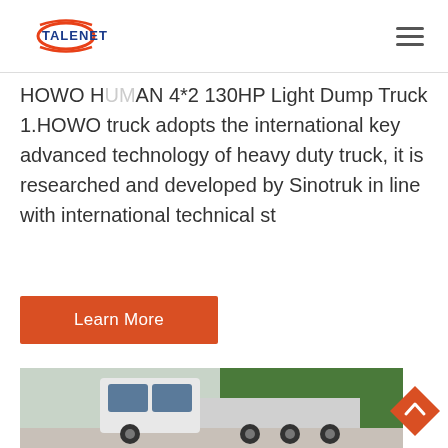TALENET
HOWO HUMAN 4*2 130HP Light Dump Truck 1.HOWO truck adopts the international key advanced technology of heavy duty truck, it is researched and developed by Sinotruk in line with international technical st
Learn More
[Figure (photo): White HOWO tractor truck parked outdoors with trees in background]